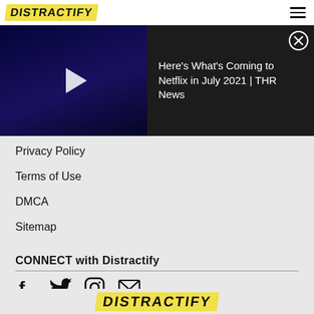DISTRACTIFY
[Figure (screenshot): Video thumbnail showing a person in a dark blue scene, with a play button overlay, beside a dark panel with title text 'Here's What's Coming to Netflix in July 2021 | THR News' and a close (X) button]
Privacy Policy
Terms of Use
DMCA
Sitemap
CONNECT with Distractify
[Figure (other): Social media icons: Facebook, Twitter, Instagram, Email]
DISTRACTIFY